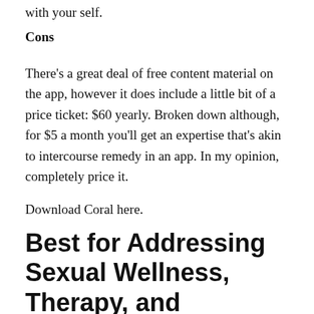with your self.
Cons
There's a great deal of free content material on the app, however it does include a little bit of a price ticket: $60 yearly. Broken down although, for $5 a month you'll get an expertise that's akin to intercourse remedy in an app. In my opinion, completely price it.
Download Coral here.
Best for Addressing Sexual Wellness, Therapy, and Education: Rosy
What began as an app designed to assist girls with